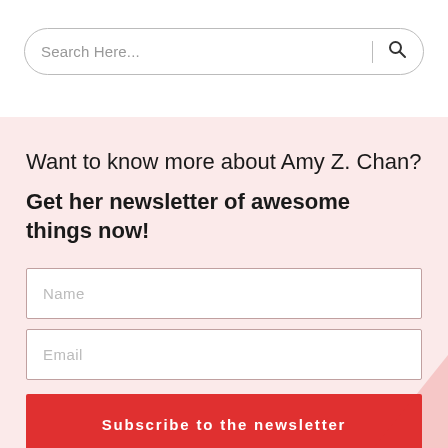[Figure (screenshot): Search bar with rounded border, placeholder text 'Search Here...', vertical divider, and search icon]
Want to know more about Amy Z. Chan?
Get her newsletter of awesome things now!
Name
Email
Subscribe to the newsletter